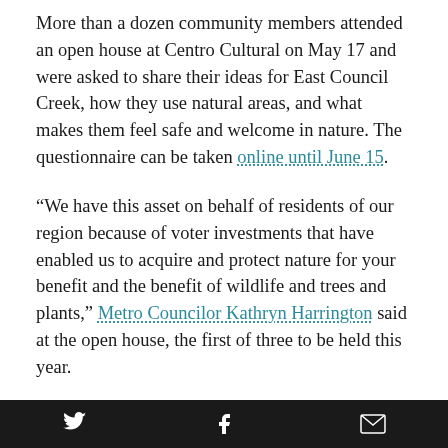More than a dozen community members attended an open house at Centro Cultural on May 17 and were asked to share their ideas for East Council Creek, how they use natural areas, and what makes them feel safe and welcome in nature. The questionnaire can be taken online until June 15.
“We have this asset on behalf of residents of our region because of voter investments that have enabled us to acquire and protect nature for your benefit and the benefit of wildlife and trees and plants,” Metro Councilor Kathryn Harrington said at the open house, the first of three to be held this year.
Metro purchased the natural area about 15 years ago to protect clean water and create healthier habitat for fish and wildlife.
Metro will be working with the City of Cornelius and
Twitter  Facebook  Email